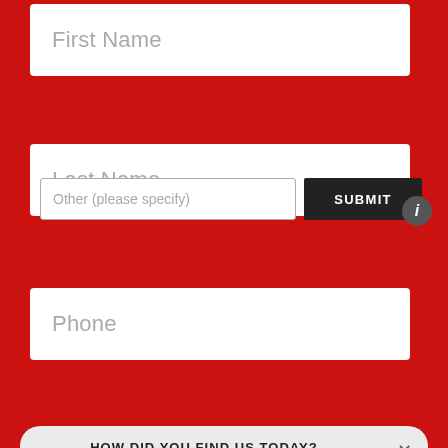First Name
Last Name
Phone
HOW DID YOU FIND US TODAY?
Friend/Family Referral
Internet Search
Company Vehicle
Other (please specify)
SUBMIT